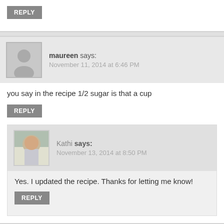REPLY
maureen says: November 11, 2014 at 6:46 PM
you say in the recipe 1/2 sugar is that a cup
REPLY
Kathi says: November 13, 2014 at 8:50 PM
Yes. I updated the recipe. Thanks for letting me know!
REPLY
allison says: November 15, 2014 at 2:19 PM